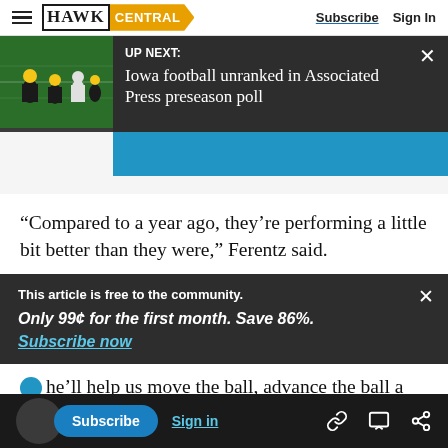HAWK CENTRAL | Subscribe | Sign In
[Figure (screenshot): UP NEXT: Iowa football unranked in Associated Press preseason poll - thumbnail with football players]
“Compared to a year ago, they’re performing a little bit better than they were,” Ferentz said.
This article is free to the community. Only 99¢ for the first month. Save 86%. Subscribe now
he’ll help us move the ball, advance the ball a
y said, that would really help!
Subscribe | Sign in